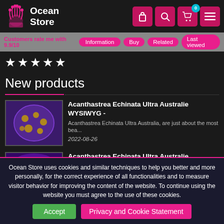[Figure (logo): Ocean Store logo with pink coral/plant icon and white text saying Ocean Store]
[Figure (screenshot): Header navigation icons: lock, search, cart with badge 0, and menu/hamburger button, all on pink/magenta background]
Customers rate me with 9.9/10
Information
Buy
Related
Last viewed
[Figure (infographic): 5 white stars rating display]
New products
[Figure (photo): Thumbnail image of Acanthastrea Echinata coral - purple/blue with yellow spots]
Acanthastrea Echinata Ultra Australie WYSIWYG -
Acanthastrea Echinata Ultra Australia, are just about the most bea...
2022-08-26
[Figure (photo): Thumbnail image of second Acanthastrea Echinata coral - purple/pink under UV light]
Acanthastrea Echinata Ultra Australie WYSIWYG -
Ocean Store uses cookies and similar techniques to help you better and more personally, for the correct experience of all functionalities and to measure visitor behavior for improving the content of the website. To continue using the website you must agree to the use of these cookies.
Accept
Privacy and Cookie Statement